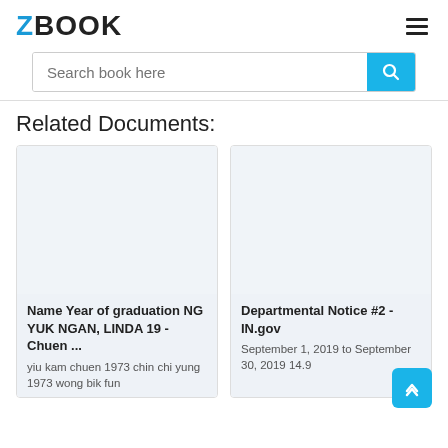ZBOOK
Search book here
Related Documents:
[Figure (screenshot): Blank white document thumbnail for 'Name Year of graduation NG YUK NGAN, LINDA 19 - Chuen ...']
Name Year of graduation NG YUK NGAN, LINDA 19 - Chuen ... yiu kam chuen 1973 chin chi yung 1973 wong bik fun
[Figure (screenshot): Blank white document thumbnail for 'Departmental Notice #2 - IN.gov']
Departmental Notice #2 - IN.gov September 1, 2019 to September 30, 2019 14.9